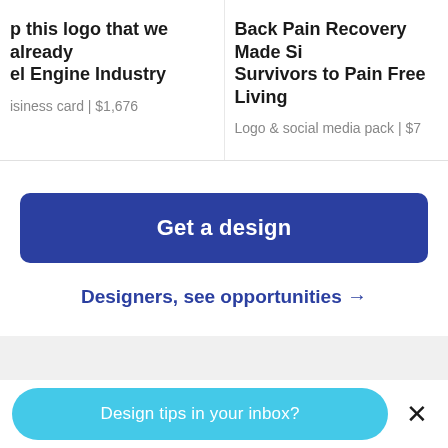p this logo that we already el Engine Industry
isiness card | $1,676
Back Pain Recovery Made Si Survivors to Pain Free Living
Logo & social media pack | $7
Get a design
Designers, see opportunities →
Design tips in your inbox?